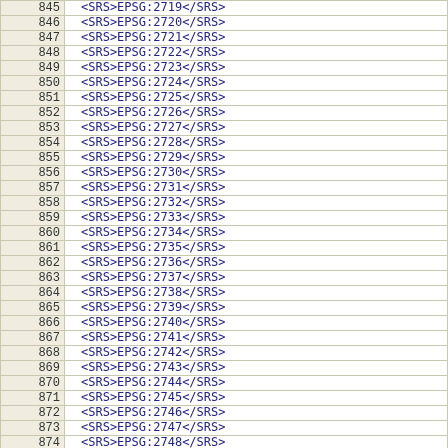| # | SRS |
| --- | --- |
| 845 | <SRS>EPSG:2719</SRS> |
| 846 | <SRS>EPSG:2720</SRS> |
| 847 | <SRS>EPSG:2721</SRS> |
| 848 | <SRS>EPSG:2722</SRS> |
| 849 | <SRS>EPSG:2723</SRS> |
| 850 | <SRS>EPSG:2724</SRS> |
| 851 | <SRS>EPSG:2725</SRS> |
| 852 | <SRS>EPSG:2726</SRS> |
| 853 | <SRS>EPSG:2727</SRS> |
| 854 | <SRS>EPSG:2728</SRS> |
| 855 | <SRS>EPSG:2729</SRS> |
| 856 | <SRS>EPSG:2730</SRS> |
| 857 | <SRS>EPSG:2731</SRS> |
| 858 | <SRS>EPSG:2732</SRS> |
| 859 | <SRS>EPSG:2733</SRS> |
| 860 | <SRS>EPSG:2734</SRS> |
| 861 | <SRS>EPSG:2735</SRS> |
| 862 | <SRS>EPSG:2736</SRS> |
| 863 | <SRS>EPSG:2737</SRS> |
| 864 | <SRS>EPSG:2738</SRS> |
| 865 | <SRS>EPSG:2739</SRS> |
| 866 | <SRS>EPSG:2740</SRS> |
| 867 | <SRS>EPSG:2741</SRS> |
| 868 | <SRS>EPSG:2742</SRS> |
| 869 | <SRS>EPSG:2743</SRS> |
| 870 | <SRS>EPSG:2744</SRS> |
| 871 | <SRS>EPSG:2745</SRS> |
| 872 | <SRS>EPSG:2746</SRS> |
| 873 | <SRS>EPSG:2747</SRS> |
| 874 | <SRS>EPSG:2748</SRS> |
| 875 | <SRS>EPSG:2749</SRS> |
| 876 | <SRS>EPSG:2750</SRS> |